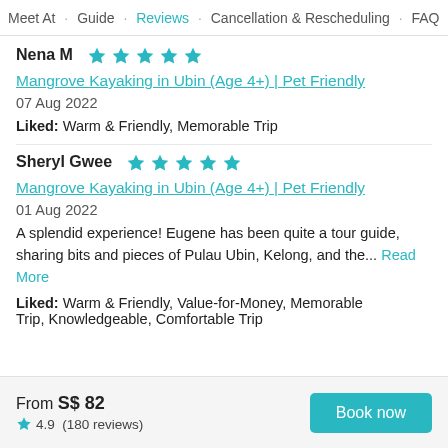Meet At · Guide · Reviews · Cancellation & Rescheduling · FAQ
Nena M ★★★★★
Mangrove Kayaking in Ubin (Age 4+) | Pet Friendly
07 Aug 2022
Liked: Warm & Friendly, Memorable Trip
Sheryl Gwee ★★★★★
Mangrove Kayaking in Ubin (Age 4+) | Pet Friendly
01 Aug 2022
A splendid experience! Eugene has been quite a tour guide, sharing bits and pieces of Pulau Ubin, Kelong, and the... Read More
Liked: Warm & Friendly, Value-for-Money, Memorable Trip, Knowledgeable, Comfortable Trip
From S$ 82  ★ 4.9 (180 reviews)  Book now